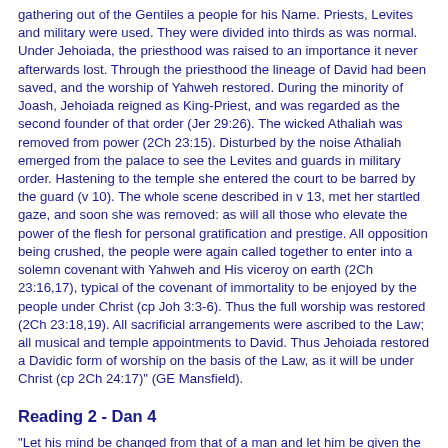gathering out of the Gentiles a people for his Name. Priests, Levites and military were used. They were divided into thirds as was normal. Under Jehoiada, the priesthood was raised to an importance it never afterwards lost. Through the priesthood the lineage of David had been saved, and the worship of Yahweh restored. During the minority of Joash, Jehoiada reigned as King-Priest, and was regarded as the second founder of that order (Jer 29:26). The wicked Athaliah was removed from power (2Ch 23:15). Disturbed by the noise Athaliah emerged from the palace to see the Levites and guards in military order. Hastening to the temple she entered the court to be barred by the guard (v 10). The whole scene described in v 13, met her startled gaze, and soon she was removed: as will all those who elevate the power of the flesh for personal gratification and prestige. All opposition being crushed, the people were again called together to enter into a solemn covenant with Yahweh and His viceroy on earth (2Ch 23:16,17), typical of the covenant of immortality to be enjoyed by the people under Christ (cp Joh 3:3-6). Thus the full worship was restored (2Ch 23:18,19). All sacrificial arrangements were ascribed to the Law; all musical and temple appointments to David. Thus Jehoiada restored a Davidic form of worship on the basis of the Law, as it will be under Christ (cp 2Ch 24:17)" (GE Mansfield).
Reading 2 - Dan 4
"Let his mind be changed from that of a man and let him be given the mind of an animal, till seven times pass by for him" (Dan 4:16).